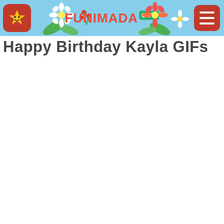FUNIMADA GIFs
Happy Birthday Kayla GIFs